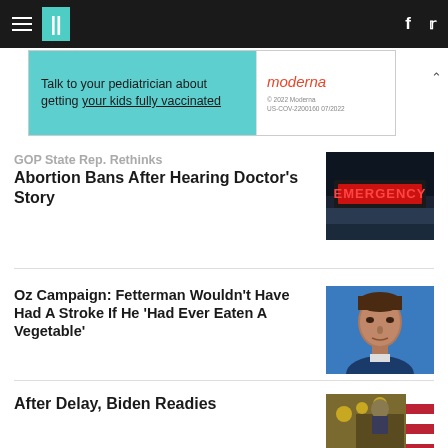HuffPost navigation with hamburger menu, logo, facebook and twitter icons
[Figure (other): Moderna advertisement banner: 'Talk to your pediatrician about getting your kids fully vaccinated' with Moderna logo]
GOP State Rep. Rethinks Abortion Bans After Hearing Doctor's Story
[Figure (photo): Emergency sign in red text on dark background above building at night]
Oz Campaign: Fetterman Wouldn't Have Had A Stroke If He 'Had Ever Eaten A Vegetable'
[Figure (photo): Headshot of Dr. Oz against blue background]
After Delay, Biden Readies
[Figure (photo): Person at podium with gold decorations and American flag]